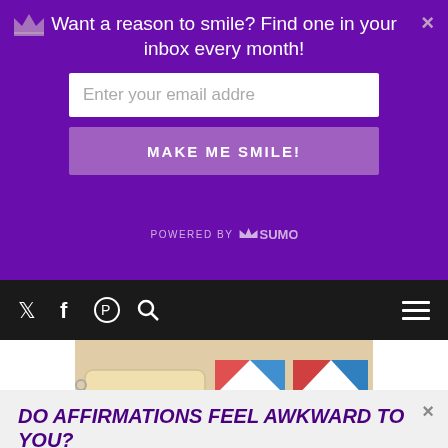Want a reason to smile? Find one in your inbox every month!
Enter your email addre
MAKE ME SMILE!
[Figure (screenshot): Navigation bar with Twitter, Facebook, Pinterest, Search icons and hamburger menu on dark background]
[Figure (photo): Photo of a spiral notebook, colorful geometric patterned boxes, and a cactus plant on a white surface]
Do affirmations feel awkward to you?
Get Mad (Love) Libs! Create an affirmation that sounds like you with the once favorite kids game, Mad Libs
Enter your email address
I WANT TO PLAY!